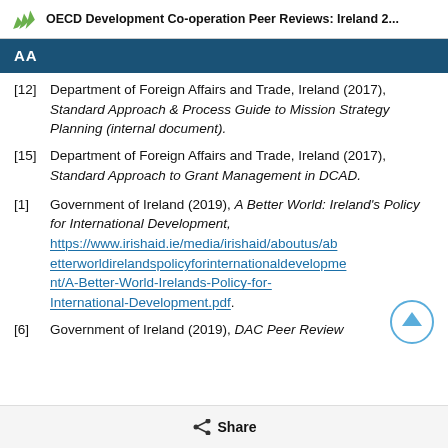OECD Development Co-operation Peer Reviews: Ireland 2...
AA
[12] Department of Foreign Affairs and Trade, Ireland (2017), Standard Approach & Process Guide to Mission Strategy Planning (internal document).
[15] Department of Foreign Affairs and Trade, Ireland (2017), Standard Approach to Grant Management in DCAD.
[1] Government of Ireland (2019), A Better World: Ireland's Policy for International Development, https://www.irishaid.ie/media/irishaid/aboutus/abetterworldirelandspolicyforinternationaldevelopment/A-Better-World-Irelands-Policy-for-International-Development.pdf.
[6] Government of Ireland (2019), DAC Peer Review
Share